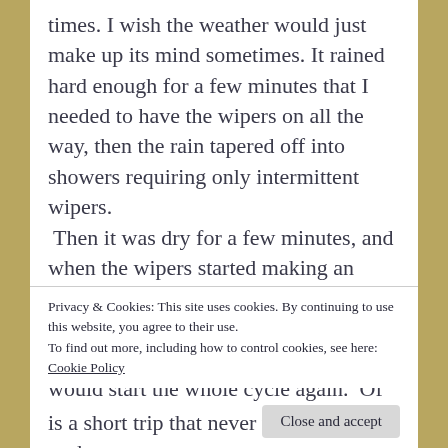times.  I wish the weather would just make up its mind sometimes. It rained hard enough for a few minutes that I needed to have the wipers on all the way, then the rain tapered off into showers requiring only intermittent wipers.  Then it was dry for a few minutes, and when the wipers started making an irritating squeaky noise, I remembered to turn them off. Then, a few minutes later, it would start raining again, and I would start the whole cycle again.  Of course, the trip from Plumdale to Jeromeville
Privacy & Cookies: This site uses cookies. By continuing to use this website, you agree to their use.
To find out more, including how to control cookies, see here: Cookie Policy
Close and accept
is a short trip that never takes long. So each p